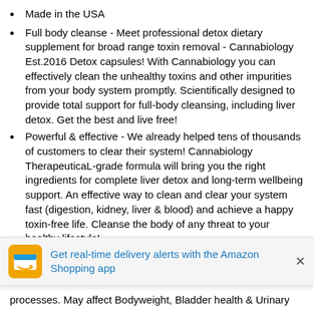Made in the USA
Full body cleanse - Meet professional detox dietary supplement for broad range toxin removal - Cannabiology Est.2016 Detox capsules! With Cannabiology you can effectively clean the unhealthy toxins and other impurities from your body system promptly. Scientifically designed to provide total support for full-body cleansing, including liver detox. Get the best and live free!
Powerful & effective - We already helped tens of thousands of customers to clear their system! Cannabiology TherapeuticaL-grade formula will bring you the right ingredients for complete liver detox and long-term wellbeing support. An effective way to clean and clear your system fast (digestion, kidney, liver & blood) and achieve a happy toxin-free life. Cleanse the body of any threat to your healthy lifestyle!
Wide-range Toxin Detox- With Cannabiology it would take 7 days only to pass full detox course! Clinically tested efficacy
[Figure (screenshot): Amazon app banner: 'Get real-time delivery alerts with the Amazon Shopping app' with Amazon icon and close button]
processes. May affect Bodyweight, Bladder health & Urinary